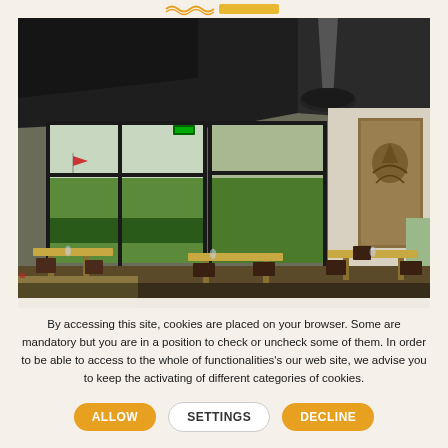[Figure (photo): Interior of a restaurant with large glass windows overlooking green fields, dark ceiling, wooden tables and chairs, a decorative tapestry on the wall, and hanging pendant lamp.]
By accessing this site, cookies are placed on your browser. Some are mandatory but you are in a position to check or uncheck some of them. In order to be able to access to the whole of functionalities's our web site, we advise you to keep the activating of different categories of cookies.
ALLOW
SETTINGS
DECLINE